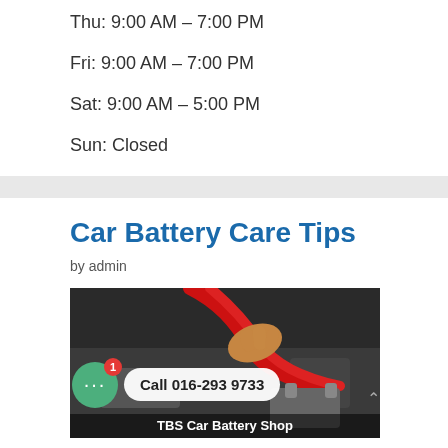Thu: 9:00 AM – 7:00 PM
Fri: 9:00 AM – 7:00 PM
Sat: 9:00 AM – 5:00 PM
Sun: Closed
Car Battery Care Tips
by admin
[Figure (photo): Close-up photo of a hand holding red jumper cables connecting to a car battery, with a chat widget overlay showing 'Call 016-293 9733' and 'TBS Car Battery Shop' label at the bottom]